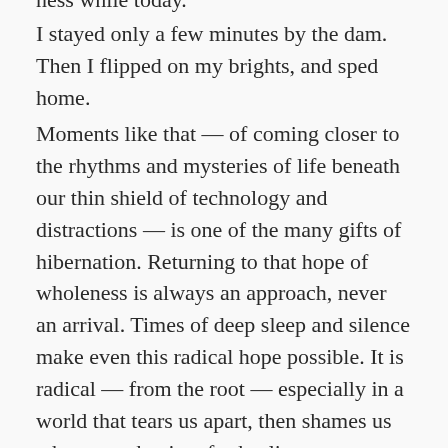I stayed only a few minutes by the dam. Then I flipped on my brights, and sped home.
Moments like that — of coming closer to the rhythms and mysteries of life beneath our thin shield of technology and distractions — is one of the many gifts of hibernation. Returning to that hope of wholeness is always an approach, never an arrival. Times of deep sleep and silence make even this radical hope possible. It is radical — from the root — especially in a world that tears us apart, then shames us when we take time for healing.